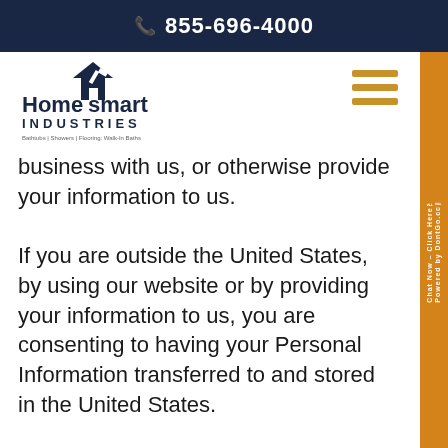855-696-4000
[Figure (logo): Home Smart Industries logo with house/hammer icon]
business with us, or otherwise provide your information to us.
If you are outside the United States, by using our website or by providing your information to us, you are consenting to having your Personal Information transferred to and stored in the United States.
INFORMATION WE COLLECT